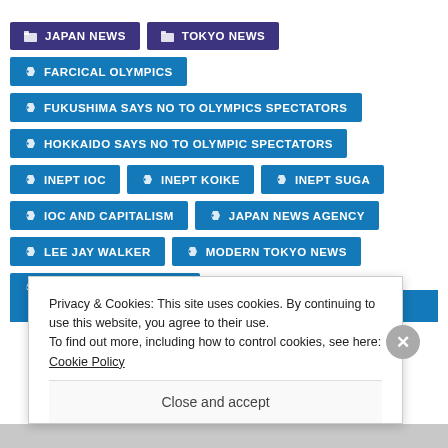JAPAN NEWS
TOKYO NEWS
FARCICAL OLYMPICS
FUKUSHIMA SAYS NO TO OLYMPICS SPECTATORS
HOKKAIDO SAYS NO TO OLYMPIC SPECTATORS
INEPT IOC
INEPT KOIKE
INEPT SUGA
IOC AND CAPITALISM
JAPAN NEWS AGENCY
LEE JAY WALKER
MODERN TOKYO NEWS
MODERN TOKYO TIMES
Privacy & Cookies: This site uses cookies. By continuing to use this website, you agree to their use. To find out more, including how to control cookies, see here: Cookie Policy
Close and accept